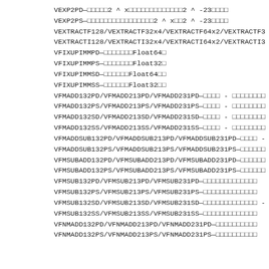VEXP2PD—□□□□□2 ^ x□□□□□□□□□□□□□2 ^ -23□□□□
VEXP2PS—□□□□□□□□□□□□□□□□2 ^ x□□2 ^ -23□□□□
VEXTRACTF128/VEXTRACTF32x4/VEXTRACTF64x2/VEXTRACTF3
VEXTRACTI128/VEXTRACTI32x4/VEXTRACTI64x2/VEXTRACTI3
VFIXUPIMMPD—□□□□□□□Float64□
VFIXUPIMMPS—□□□□□□□Float32□
VFIXUPIMMSD—□□□□□□Float64□□
VFIXUPIMMSS—□□□□□□Float32□□
VFMADD132PD/VFMADD213PD/VFMADD231PD—□□□□ - □□□□□□□□
VFMADD132PS/VFMADD213PS/VFMADD231PS—□□□□ - □□□□□□□□
VFMADD132SD/VFMADD213SD/VFMADD231SD—□□□□ - □□□□□□□□
VFMADD132SS/VFMADD213SS/VFMADD231SS—□□□□ - □□□□□□□□
VFMADDSUB132PD/VFMADDSUB213PD/VFMADDSUB231PD—□□□□ -
VFMADDSUB132PS/VFMADDSUB213PS/VFMADDSUB231PS—□□□□□□
VFMSUBADD132PD/VFMSUBADD213PD/VFMSUBADD231PD—□□□□□□
VFMSUBADD132PS/VFMSUBADD213PS/VFMSUBADD231PS—□□□□□□
VFMSUB132PD/VFMSUB213PD/VFMSUB231PD—□□□□□□□□□□□□□
VFMSUB132PS/VFMSUB213PS/VFMSUB231PS—□□□□□□□□□□□□□
VFMSUB132SD/VFMSUB213SD/VFMSUB231SD—□□□□□□□□□□□□□ -
VFMSUB132SS/VFMSUB213SS/VFMSUB231SS—□□□□□□□□□□□□□
VFNMADD132PD/VFNMADD213PD/VFNMADD231PD—□□□□□□□□□□
VFNMADD132PS/VFNMADD213PS/VFNMADD231PS—□□□□□□□□□□